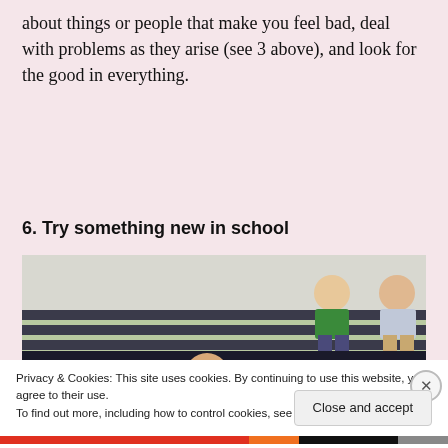about things or people that make you feel bad, deal with problems as they arise (see 3 above), and look for the good in everything.
6. Try something new in school
[Figure (photo): A group of students in red uniforms huddle together with a teacher in a white shirt, in what appears to be a gymnasium or school setting. Adults are seated in the background on bleachers.]
Privacy & Cookies: This site uses cookies. By continuing to use this website, you agree to their use.
To find out more, including how to control cookies, see here: Cookie Policy